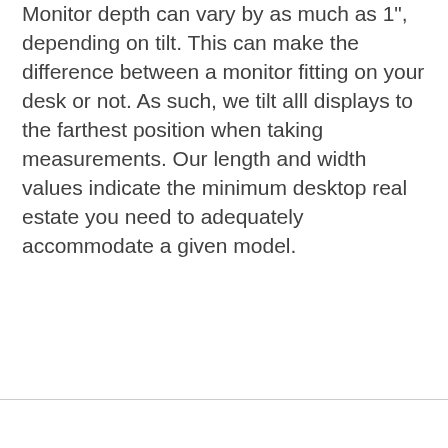Monitor depth can vary by as much as 1", depending on tilt. This can make the difference between a monitor fitting on your desk or not. As such, we tilt alll displays to the farthest position when taking measurements. Our length and width values indicate the minimum desktop real estate you need to adequately accommodate a given model.